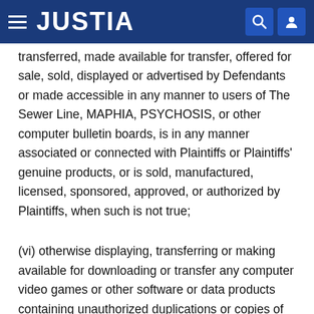JUSTIA
transferred, made available for transfer, offered for sale, sold, displayed or advertised by Defendants or made accessible in any manner to users of The Sewer Line, MAPHIA, PSYCHOSIS, or other computer bulletin boards, is in any manner associated or connected with Plaintiffs or Plaintiffs' genuine products, or is sold, manufactured, licensed, sponsored, approved, or authorized by Plaintiffs, when such is not true;
(vi) otherwise displaying, transferring or making available for downloading or transfer any computer video games or other software or data products containing unauthorized duplications or copies of Plaintiffs'